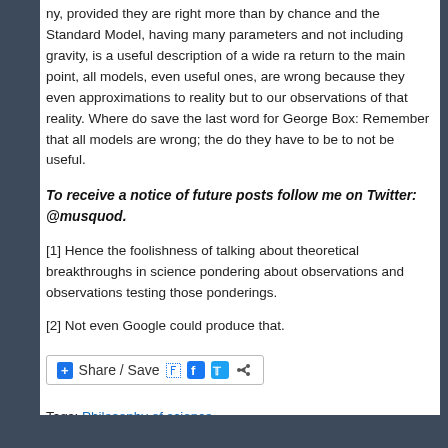ny, provided they are right more than by chance and the Standard Model, having many parameters and not including gravity, is a useful description of a wide range. return to the main point, all models, even useful ones, are wrong because they are not even approximations to reality but to our observations of that reality. Where do... save the last word for George Box: Remember that all models are wrong; the question is do they have to be to not be useful.
To receive a notice of future posts follow me on Twitter: @musquod.
[1] Hence the foolishness of talking about theoretical breakthroughs in science... pondering about observations and observations testing those ponderings.
[2] Not even Google could produce that.
[Figure (other): Share / Save button with Facebook, Twitter and share icons]
Tags: Philosophy of science